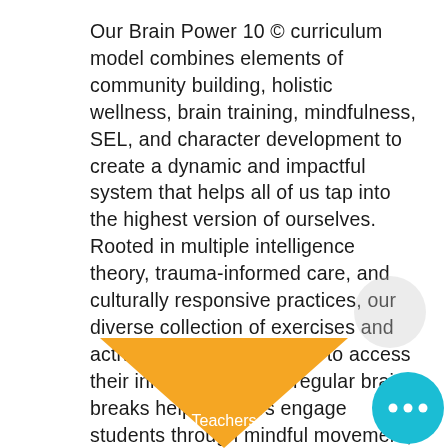Our Brain Power 10 © curriculum model combines elements of community building, holistic wellness, brain training, mindfulness, SEL, and character development to create a dynamic and impactful system that helps all of us tap into the highest version of ourselves. Rooted in multiple intelligence theory, trauma-informed care, and culturally responsive practices, our diverse collection of exercises and activities allow all learners to access their inner genius. Our regular brain breaks help teachers engage students through mindful movement, brain training and holistic wellness activities.
[Figure (infographic): Partial diagram showing a yellow/gold fan/petal shape labeled 'Teachers' at the bottom center, a light grey circle partially visible on the right side, and a teal/cyan circle with three white dots (ellipsis) in the bottom right corner.]